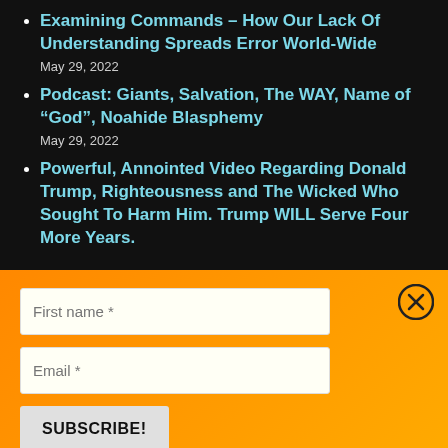Examining Commands – How Our Lack Of Understanding Spreads Error World-Wide
May 29, 2022
Podcast: Giants, Salvation, The WAY, Name of "God", Noahide Blasphemy
May 29, 2022
Powerful, Annointed Video Regarding Donald Trump, Righteousness and The Wicked Who Sought To Harm Him. Trump WILL Serve Four More Years.
[Figure (other): Close/dismiss button (circled X icon) in top-right of orange subscription form panel]
First name *
Email *
SUBSCRIBE!